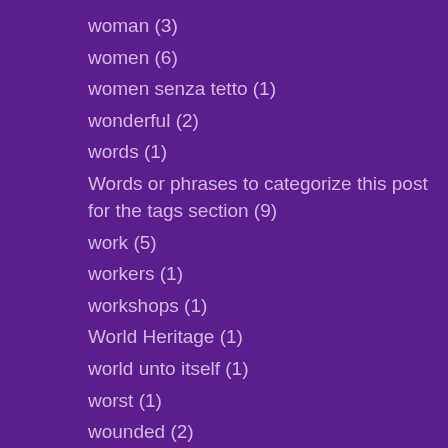woman (3)
women (6)
women senza tetto (1)
wonderful (2)
words (1)
Words or phrases to categorize this post for the tags section (9)
work (5)
workers (1)
workshops (1)
World Heritage (1)
world unto itself (1)
worst (1)
wounded (2)
wow (1)
writers (1)
yacht (1)
yahoo (1)
yes we can (1)